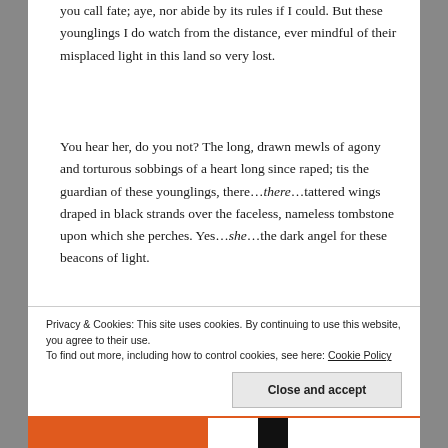you call fate; aye, nor abide by its rules if I could. But these younglings I do watch from the distance, ever mindful of their misplaced light in this land so very lost.
You hear her, do you not? The long, drawn mewls of agony and torturous sobbings of a heart long since raped; tis the guardian of these younglings, there…there…tattered wings draped in black strands over the faceless, nameless tombstone upon which she perches. Yes…she…the dark angel for these beacons of light.
Privacy & Cookies: This site uses cookies. By continuing to use this website, you agree to their use. To find out more, including how to control cookies, see here: Cookie Policy
Close and accept